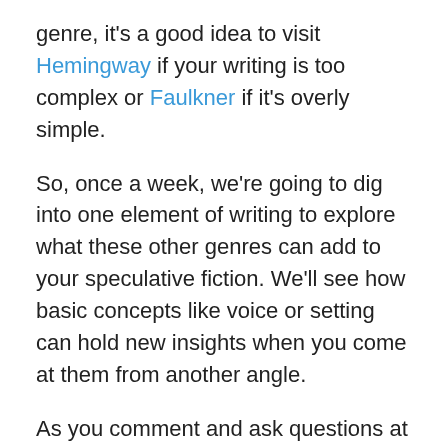genre, it's a good idea to visit Hemingway if your writing is too complex or Faulkner if it's overly simple.
So, once a week, we're going to dig into one element of writing to explore what these other genres can add to your speculative fiction. We'll see how basic concepts like voice or setting can hold new insights when you come at them from another angle.
As you comment and ask questions at the end of each post, I hope that this column can serve as the introduction to a discussion on the craft of writing. And, while I have many topics which I look forward to covering, I'm always open to suggestions and look forward to hearing what elements of your writing you'd like to improve.
I'll also throw out a prompt related to what we've